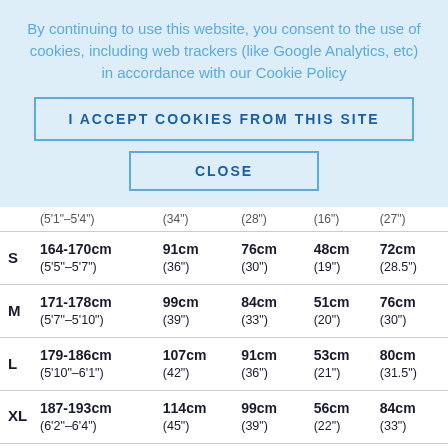By continuing to use this website, you consent to the use of cookies, including web trackers (like Google Analytics, etc) in accordance with our Cookie Policy
I ACCEPT COOKIES FROM THIS SITE
CLOSE
| Size | Height | Chest | Waist | Shoulder | Sleeve |
| --- | --- | --- | --- | --- | --- |
| S | 164-170cm (5'5"–5'7") | 91cm (36") | 76cm (30") | 48cm (19") | 72cm (28.5") |
| M | 171-178cm (5'7"–5'10") | 99cm (39") | 84cm (33") | 51cm (20") | 76cm (30") |
| L | 179-186cm (5'10"–6'1") | 107cm (42") | 91cm (36") | 53cm (21") | 80cm (31.5") |
| XL | 187-193cm (6'2"–6'4") | 114cm (45") | 99cm (39") | 56cm (22") | 84cm (33") |